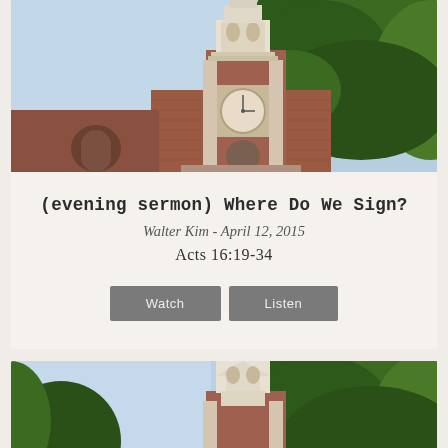[Figure (photo): Church with red brick tower and clock, white bell tower steeple, large trees in background, blue sky]
(evening sermon) Where Do We Sign?
Walter Kim - April 12, 2015
Acts 16:19-34
[Figure (photo): Church with white steeple and large trees, blue sky, similar to top image but slightly different angle]